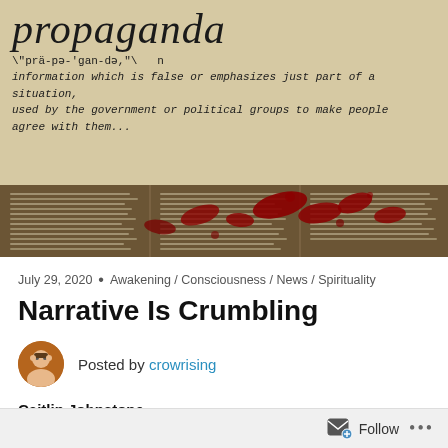[Figure (illustration): Dictionary-style image showing the word 'propaganda' in large italic serif font at top, with phonetic spelling and definition below on aged parchment background, with a lower strip showing newspaper text overlaid with dark red blood splatters]
July 29, 2020  •  Awakening / Consciousness / News / Spirituality
Narrative Is Crumbling
Posted by crowrising
Caitlin Johnstone
It's difficult to understand what's going on in the world.
Follow  ...